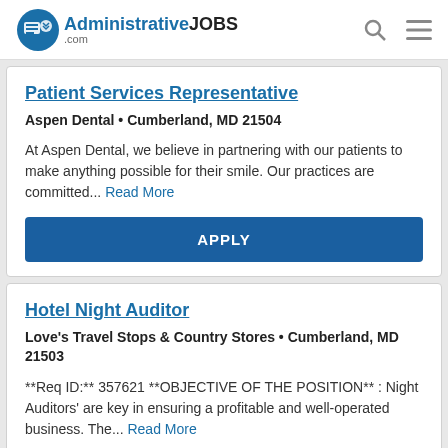AdministrativeJOBS.com
Patient Services Representative
Aspen Dental • Cumberland, MD 21504
At Aspen Dental, we believe in partnering with our patients to make anything possible for their smile. Our practices are committed... Read More
APPLY
Hotel Night Auditor
Love's Travel Stops & Country Stores • Cumberland, MD 21503
**Req ID:** 357621 **OBJECTIVE OF THE POSITION** : Night Auditors' are key in ensuring a profitable and well-operated business. The... Read More